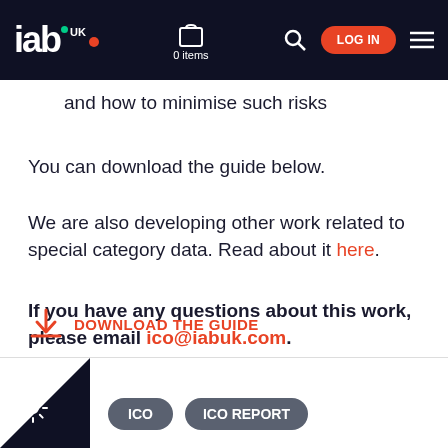IAB UK | 0 items | LOG IN
and how to minimise such risks
You can download the guide below.
We are also developing other work related to special category data. Read about it here.
If you have any questions about this work, please email ico@iabuk.com.
DOWNLOAD THE GUIDE
ICO | ICO REPORT